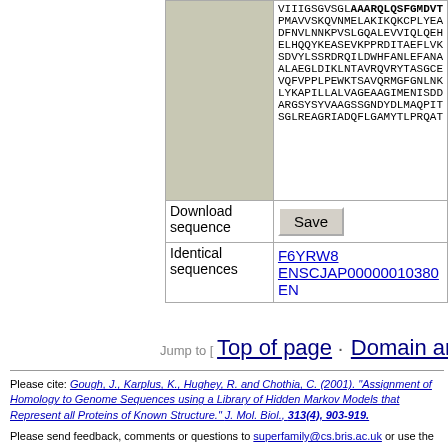|  | Sequence / Info |
| --- | --- |
|  | VIIIGSGVSGL AAARQLQSFGMDVT PMAVVSKQVNMELAKIKQKCPLYEA DFNVLNNKPVSLGQALEVVIQLQEH ELHQQYKEASEVKPPRDITAEFLVK SDVYLSSRDRQILDWHFANLEFANA ALAEGLDIKLNTAVRQVRYTASGCE VQFVPPLPEWKTSAVQRMGFGNLNK LYKAPILLALVAGEAAGIMENISDD ARGSYSYVAAGSSGNDYDLMAQPIT SGLREAGRIADQFLGAMYTLPRQAT |
| Download sequence | Save |
| Identical sequences | F6YRW8 ENSCJAP00000010380 EN... |
Jump to [ Top of page · Domain architecture
Please cite: Gough, J., Karplus, K., Hughey, R. and Chothia, C. (2001). "Assignment of Homology to Genome Sequences using a Library of Hidden Markov Models that Represent all Proteins of Known Structure." J. Mol. Biol., 313(4), 903-919.
Please send feedback, comments or questions to superfamily@cs.bris.ac.uk or use the feedback form.
© Copyright 2013 The SUPERFAMILY authors and Julian Gough.